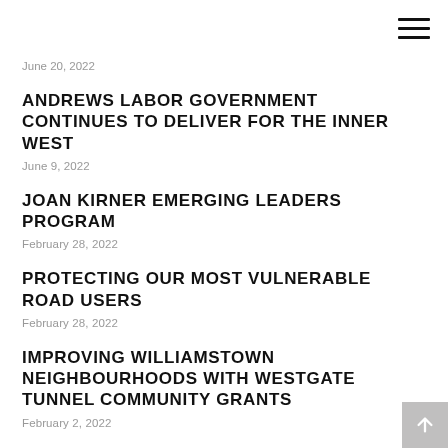June 20, 2022
ANDREWS LABOR GOVERNMENT CONTINUES TO DELIVER FOR THE INNER WEST
June 9, 2022
JOAN KIRNER EMERGING LEADERS PROGRAM
February 28, 2022
PROTECTING OUR MOST VULNERABLE ROAD USERS
February 28, 2022
IMPROVING WILLIAMSTOWN NEIGHBOURHOODS WITH WESTGATE TUNNEL COMMUNITY GRANTS
February 2, 2022